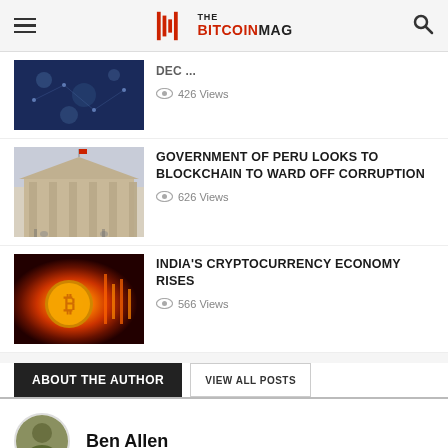THE BITCOINMAG
DEC... (truncated article title)
426 Views
GOVERNMENT OF PERU LOOKS TO BLOCKCHAIN TO WARD OFF CORRUPTION
626 Views
INDIA'S CRYPTOCURRENCY ECONOMY RISES
566 Views
ABOUT THE AUTHOR
VIEW ALL POSTS
Ben Allen